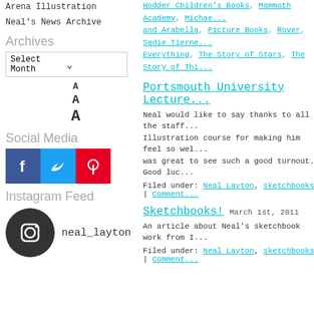Arena Illustration
Neal's News Archive
Archives
Select Month
A  A  A
Social Media
[Figure (other): Facebook, Twitter, Pinterest social media icons]
Instagram Feed
[Figure (other): Instagram circle logo icon with handle neal_layton]
Hodder Children's Books, Mammoth Academy, Michael and Arabella, Picture Books, Rover, Sadie Tierne... Everything, The Story of Stars, The Story of Thi...
Portsmouth University Lecture
Neal would like to say thanks to all the staff... Illustration course for making him feel so wel... was great to see such a good turnout. Good luc...
Filed under: Neal Layton, sketchbooks | Comment...
Sketchbooks!
March 1st, 2011
An article about Neal's sketchbook work from I...
Filed under: Neal Layton, sketchbooks | Comment...